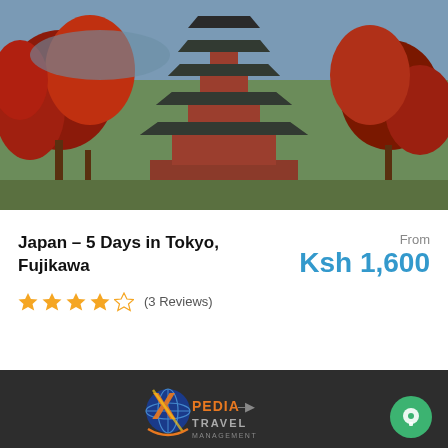[Figure (photo): Aerial view of a Japanese pagoda with red autumn foliage trees and traditional architecture against a landscape background]
Japan – 5 Days in Tokyo, Fujikawa
From Ksh 1,600
★★★★☆ (3 Reviews)
[Figure (logo): Xpedia Travel Management logo — stylized orange X with a globe, text XPEDIA TRAVEL MANAGEMENT]